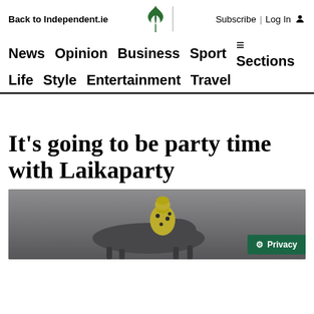Back to Independent.ie | Subscribe | Log In
News  Opinion  Business  Sport  ≡ Sections
Life  Style  Entertainment  Travel
It's going to be party time with Laikaparty
[Figure (photo): A jockey in a yellow and black spotted jersey and helmet riding a horse at a race]